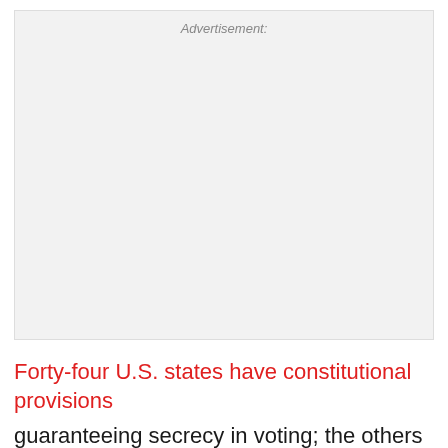[Figure (other): Advertisement placeholder box with label 'Advertisement:' at the top center]
Forty-four U.S. states have constitutional provisions guaranteeing secrecy in voting; the others have statutes to the same effect. At the same time, five